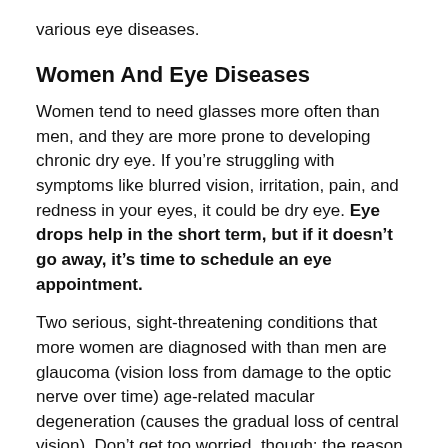various eye diseases.
Women And Eye Diseases
Women tend to need glasses more often than men, and they are more prone to developing chronic dry eye. If you’re struggling with symptoms like blurred vision, irritation, pain, and redness in your eyes, it could be dry eye. Eye drops help in the short term, but if it doesn’t go away, it’s time to schedule an eye appointment.
Two serious, sight-threatening conditions that more women are diagnosed with than men are glaucoma (vision loss from damage to the optic nerve over time) age-related macular degeneration (causes the gradual loss of central vision). Don’t get too worried, though; the reason for this is simply that women tend to live longer than men, and the best way to fight these diseases is early detection through